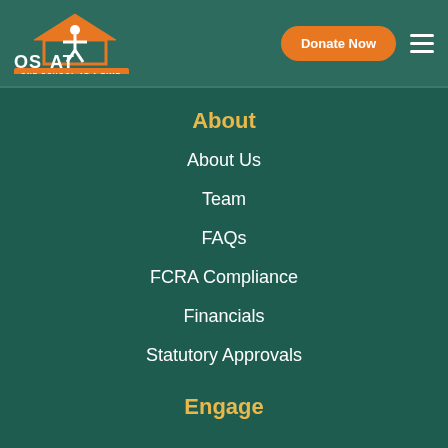[Figure (logo): OSAAT - One School At A Time logo with orange house/person icon on dark teal background]
Donate Now
About
About Us
Team
FAQs
FCRA Compliance
Financials
Statutory Approvals
Engage